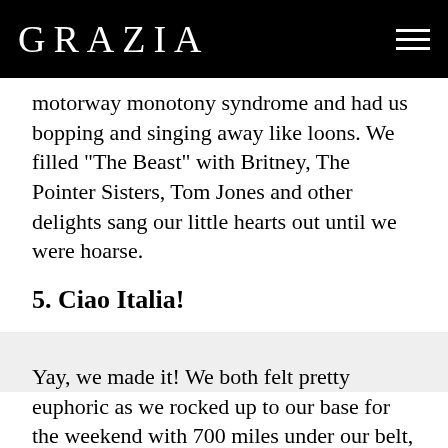GRAZIA
motorway monotony syndrome and had us bopping and singing away like loons. We filled “The Beast” with Britney, The Pointer Sisters, Tom Jones and other delights sang our little hearts out until we were hoarse.
5. Ciao Italia!
Yay, we made it! We both felt pretty euphoric as we rocked up to our base for the weekend with 700 miles under our belt, our sense of humours still intact and two days swooshing about on the